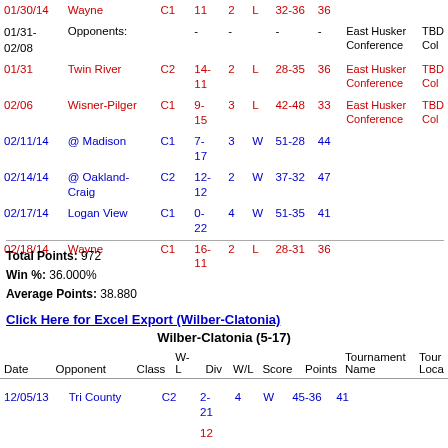| Date | Opponent | Class | W-L | Div | W/L | Score | Points | Tournament Name | Tournament Location |
| --- | --- | --- | --- | --- | --- | --- | --- | --- | --- |
| 01/30/14 | Wayne | C1 | 11 | 2 | L | 32-36 | 36 |  |  |
| 01/31-02/08 | Opponents: |  | - | - |  | - | - | East Husker Conference | TBD Col |
| 01/31 | Twin River | C2 | 14-11 | 2 | L | 28-35 | 36 | East Husker Conference | TBD Col |
| 02/06 | Wisner-Pilger | C1 | 9-15 | 3 | L | 42-48 | 33 | East Husker Conference | TBD Col |
| 02/11/14 | @ Madison | C1 | 7-17 | 3 | W | 51-28 | 44 |  |  |
| 02/14/14 | @ Oakland-Craig | C2 | 12-12 | 2 | W | 37-32 | 47 |  |  |
| 02/17/14 | Logan View | C1 | 0-22 | 4 | W | 51-35 | 41 |  |  |
| 02/18/14 | Wayne | C1 | 16-11 | 2 | L | 28-31 | 36 |  |  |
Total Points: 972
Win %: 36.000%
Average Points: 38.880
Click Here for Excel Export (Wilber-Clatonia)
Wilber-Clatonia (5-17)
| Date | Opponent | Class | W-L | Div | W/L | Score | Points | Tournament Name | Tournament Location |
| --- | --- | --- | --- | --- | --- | --- | --- | --- | --- |
| 12/05/13 | Tri County | C2 | 2-21 | 4 | W | 45-36 | 41 |  |  |